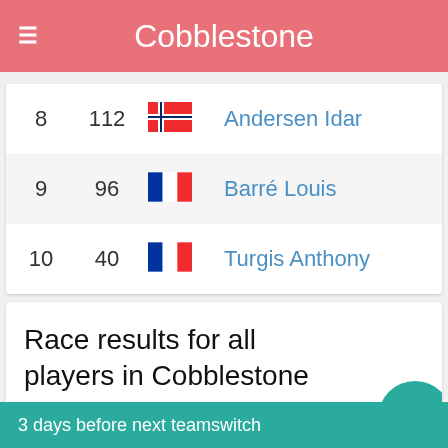Cobblestone
| Rank | Points | Flag | Name |
| --- | --- | --- | --- |
| 8 | 112 | Norway | Andersen Idar |
| 9 | 96 | France | Barré Louis |
| 10 | 40 | France | Turgis Anthony |
Race results for all players in Cobblestone League
3 days before next teamswitch